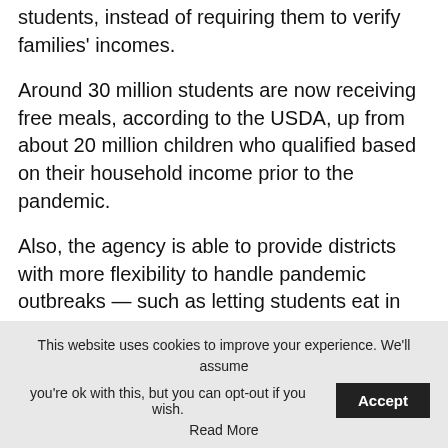students, instead of requiring them to verify families' incomes.
Around 30 million students are now receiving free meals, according to the USDA, up from about 20 million children who qualified based on their household income prior to the pandemic.
Also, the agency is able to provide districts with more flexibility to handle pandemic outbreaks — such as letting students eat in their classrooms or providing grab-and-go meals for children who must quarantine at home.
This website uses cookies to improve your experience. We'll assume you're ok with this, but you can opt-out if you wish. Accept Read More